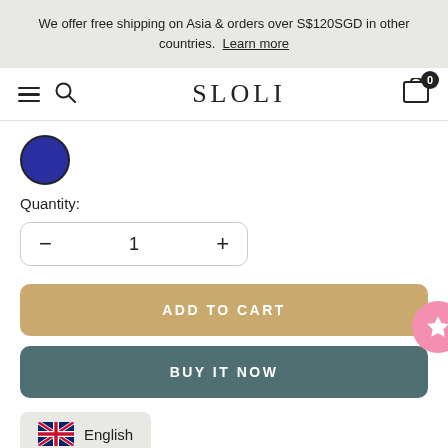We offer free shipping on Asia & orders over S$120SGD in other countries. Learn more
SLOLI
[Figure (illustration): Blue circle color swatch]
Quantity:
- 1 +
ADD TO CART
BUY IT NOW
English